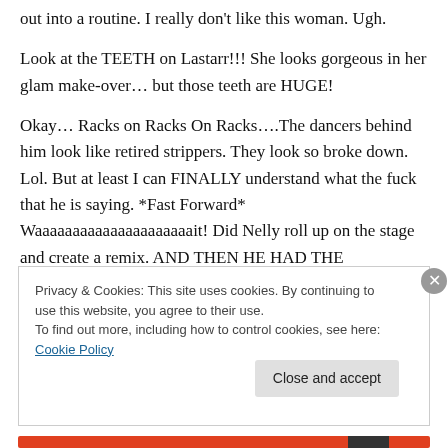out into a routine. I really don't like this woman. Ugh.
Look at the TEETH on Lastarr!!! She looks gorgeous in her glam make-over… but those teeth are HUGE!
Okay… Racks on Racks On Racks….The dancers behind him look like retired strippers. They look so broke down. Lol. But at least I can FINALLY understand what the fuck that he is saying. *Fast Forward* Waaaaaaaaaaaaaaaaaaaaait! Did Nelly roll up on the stage and create a remix. AND THEN HE HAD THE
Privacy & Cookies: This site uses cookies. By continuing to use this website, you agree to their use.
To find out more, including how to control cookies, see here: Cookie Policy